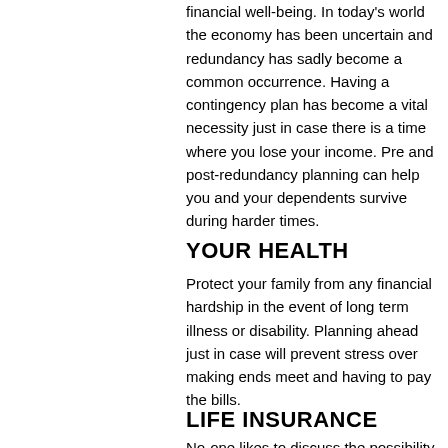financial well-being. In today's world the economy has been uncertain and redundancy has sadly become a common occurrence. Having a contingency plan has become a vital necessity just in case there is a time where you lose your income. Pre and post-redundancy planning can help you and your dependents survive during harder times.
YOUR HEALTH
Protect your family from any financial hardship in the event of long term illness or disability. Planning ahead just in case will prevent stress over making ends meet and having to pay the bills.
LIFE INSURANCE
No-one likes to discuss the possibility of